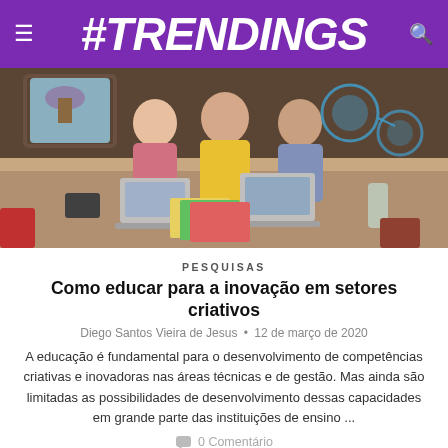#TRENDINGS
[Figure (photo): Three young people working around a table with laptops and papers in a creative workspace, with digital technology overlay graphics in background]
PESQUISAS
Como educar para a inovação em setores criativos
Diego Santos Vieira de Jesus • 12 de março de 2020
A educação é fundamental para o desenvolvimento de competências criativas e inovadoras nas áreas técnicas e de gestão. Mas ainda são limitadas as possibilidades de desenvolvimento dessas capacidades em grande parte das instituições de ensino ...
0 Comentário
[Figure (photo): Partial view of another article image at the bottom of the page]